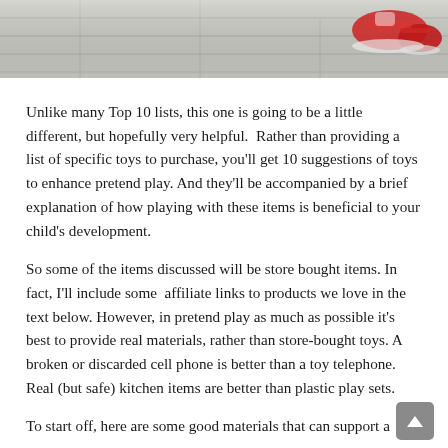[Figure (photo): Top portion of a photo showing a child lying on a wooden floor wearing red sneakers, with a partial view of rolled items nearby. Light gray wood plank flooring visible.]
Unlike many Top 10 lists, this one is going to be a little different, but hopefully very helpful.  Rather than providing a list of specific toys to purchase, you'll get 10 suggestions of toys to enhance pretend play. And they'll be accompanied by a brief explanation of how playing with these items is beneficial to your child's development.
So some of the items discussed will be store bought items. In fact, I'll include some  affiliate links to products we love in the text below. However, in pretend play as much as possible it's best to provide real materials, rather than store-bought toys. A broken or discarded cell phone is better than a toy telephone. Real (but safe) kitchen items are better than plastic play sets.
To start off, here are some good materials that can support a